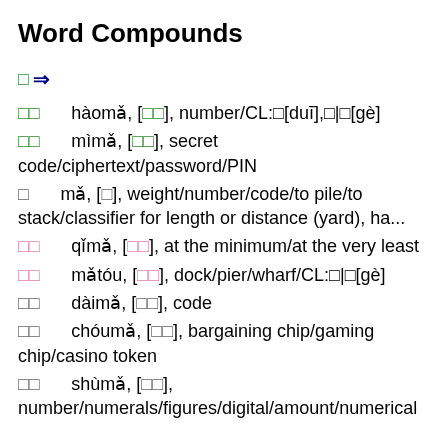Word Compounds
□ ⇒
□□   hàomǎ, [□□], number/CL:□[duī],□|□[gè]
□□   mìmǎ, [□□], secret code/ciphertext/password/PIN
□   mǎ, [□], weight/number/code/to pile/to stack/classifier for length or distance (yard), ha...
□□   qǐmǎ, [□□], at the minimum/at the very least
□□   mǎtóu, [□□], dock/pier/wharf/CL:□|□[gè]
□□   dàimǎ, [□□], code
□□   chóumǎ, [□□], bargaining chip/gaming chip/casino token
□□   shùmǎ, [□□], number/numerals/figures/digital/amount/numerical